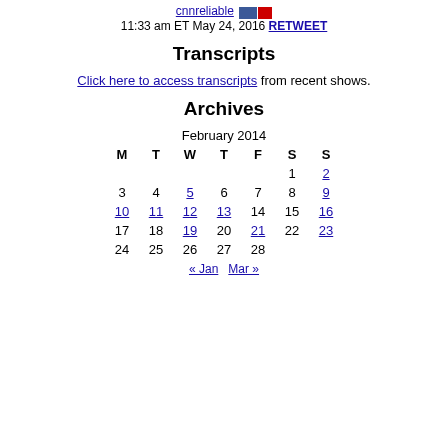cnnreliable 11:33 am ET May 24, 2016 RETWEET
Transcripts
Click here to access transcripts from recent shows.
Archives
| M | T | W | T | F | S | S |
| --- | --- | --- | --- | --- | --- | --- |
|  |  |  |  |  | 1 | 2 |
| 3 | 4 | 5 | 6 | 7 | 8 | 9 |
| 10 | 11 | 12 | 13 | 14 | 15 | 16 |
| 17 | 18 | 19 | 20 | 21 | 22 | 23 |
| 24 | 25 | 26 | 27 | 28 |  |  |
« Jan  Mar »